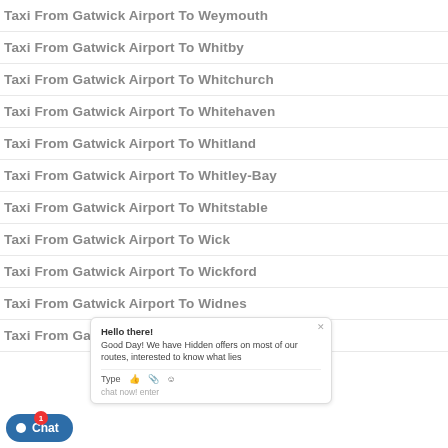Taxi From Gatwick Airport To Weymouth
Taxi From Gatwick Airport To Whitby
Taxi From Gatwick Airport To Whitchurch
Taxi From Gatwick Airport To Whitehaven
Taxi From Gatwick Airport To Whitland
Taxi From Gatwick Airport To Whitley-Bay
Taxi From Gatwick Airport To Whitstable
Taxi From Gatwick Airport To Wick
Taxi From Gatwick Airport To Wickford
Taxi From Gatwick Airport To Widnes
Taxi From Gatwick Airport To Wigan